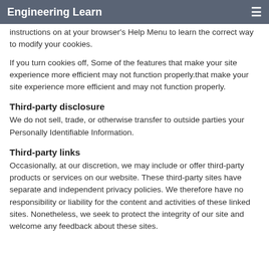Engineering Learn
instructions on at your browser's Help Menu to learn the correct way to modify your cookies.
If you turn cookies off, Some of the features that make your site experience more efficient may not function properly.that make your site experience more efficient and may not function properly.
Third-party disclosure
We do not sell, trade, or otherwise transfer to outside parties your Personally Identifiable Information.
Third-party links
Occasionally, at our discretion, we may include or offer third-party products or services on our website. These third-party sites have separate and independent privacy policies. We therefore have no responsibility or liability for the content and activities of these linked sites. Nonetheless, we seek to protect the integrity of our site and welcome any feedback about these sites.